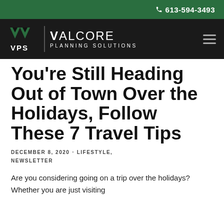613-594-3493
[Figure (logo): VPS Valcore Planning Solutions logo on dark background with hamburger menu icon]
You're Still Heading Out of Town Over the Holidays, Follow These 7 Travel Tips
DECEMBER 8, 2020 · LIFESTYLE, NEWSLETTER
Are you considering going on a trip over the holidays? Whether you are just visiting